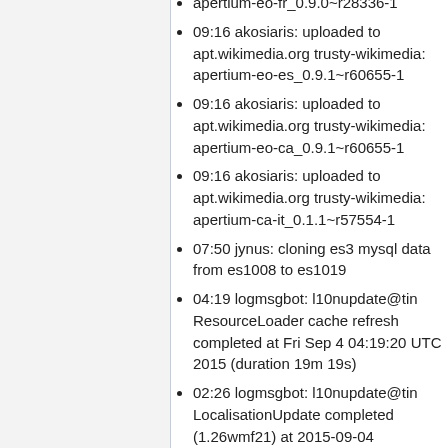apertium-eo-fr_0.9.0~r28336-1
09:16 akosiaris: uploaded to apt.wikimedia.org trusty-wikimedia: apertium-eo-es_0.9.1~r60655-1
09:16 akosiaris: uploaded to apt.wikimedia.org trusty-wikimedia: apertium-eo-ca_0.9.1~r60655-1
09:16 akosiaris: uploaded to apt.wikimedia.org trusty-wikimedia: apertium-ca-it_0.1.1~r57554-1
07:50 jynus: cloning es3 mysql data from es1008 to es1019
04:19 logmsgbot: l10nupdate@tin ResourceLoader cache refresh completed at Fri Sep 4 04:19:20 UTC 2015 (duration 19m 19s)
02:26 logmsgbot: l10nupdate@tin LocalisationUpdate completed (1.26wmf21) at 2015-09-04 02:26:04+00:00